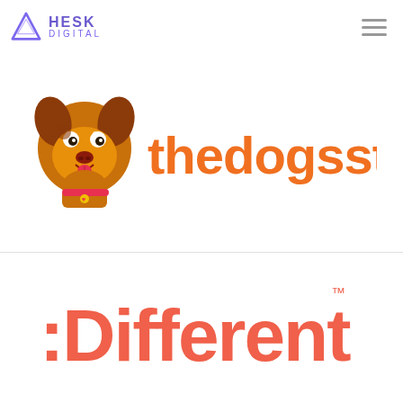HESK DIGITAL
[Figure (logo): thedogsstuff logo with cartoon dog mascot and orange brand name text]
[Figure (logo): :Different logo in coral/orange-red color with trademark symbol]